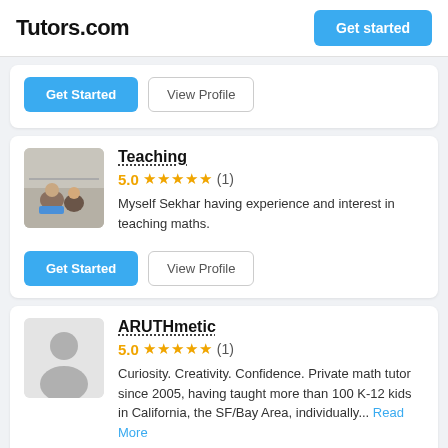Tutors.com | Get started
Get Started | View Profile
Teaching
5.0 ★★★★★ (1)
Myself Sekhar having experience and interest in teaching maths.
Get Started | View Profile
ARUTHmetic
5.0 ★★★★★ (1)
Curiosity. Creativity. Confidence. Private math tutor since 2005, having taught more than 100 K-12 kids in California, the SF/Bay Area, individually... Read More